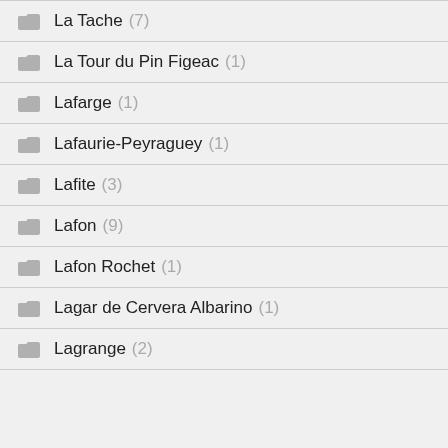La Tache (7)
La Tour du Pin Figeac (1)
Lafarge (1)
Lafaurie-Peyraguey (1)
Lafite (3)
Lafon (9)
Lafon Rochet (1)
Lagar de Cervera Albarino (1)
Lagrange (2)